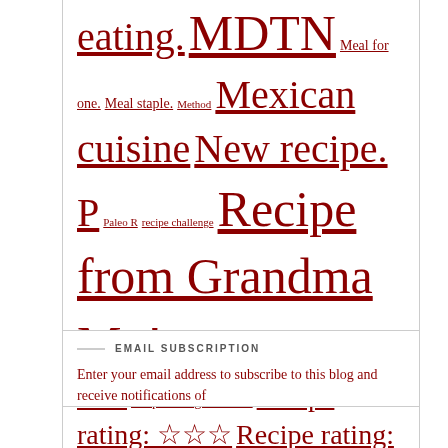eating. MDTN Meal for one. Meal staple. Method Mexican cuisine New recipe. P Paleo R recipe challenge Recipe from Grandma Mo! Recipe rating: ☆ Recipe rating: ☆☆ recipe rating: ☆☆1/2 Recipe rating: ☆☆☆ Recipe rating: ☆☆☆ 1/2 Recipe rating: ☆☆☆☆ Recipe rating: ☆☆☆☆ 1/2 Recipe rating: ☆☆☆☆☆ Seasonal. spicy! VVG
EMAIL SUBSCRIPTION
Enter your email address to subscribe to this blog and receive notifications of